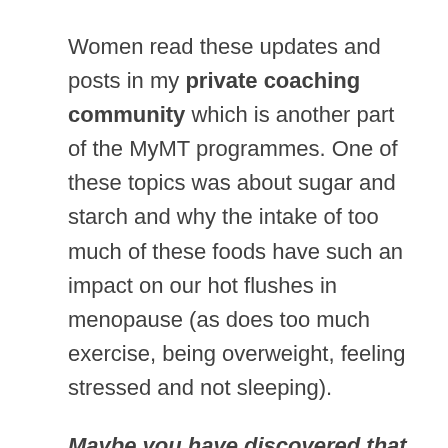Women read these updates and posts in my private coaching community which is another part of the MyMT programmes. One of these topics was about sugar and starch and why the intake of too much of these foods have such an impact on our hot flushes in menopause (as does too much exercise, being overweight, feeling stressed and not sleeping).
Maybe you have discovered that high sugar and certain carbohydrate foods contribute to your hot flushes too? I still remember the